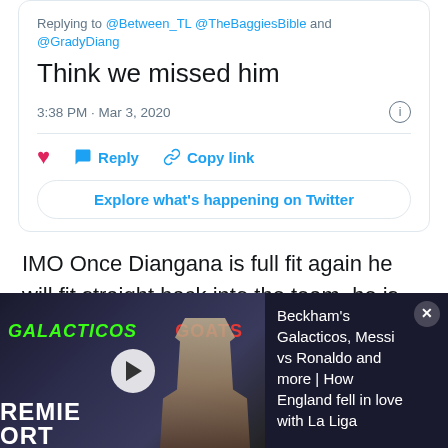Replying to @Between_TL @TheBaggiesBible and @GradyDiang
Think we missed him
3:38 PM · Mar 3, 2020
Reply   Copy link
Explore what's happening on Twitter
IMO Once Diangana is full fit again he will fit straight back into the team, he is one of the best players at the club he brings different amounts of creativity and ability #wba
[Figure (screenshot): Video thumbnail showing a man speaking at a podium, with text overlays GALACTICOS and GOATS, and partial text REMIE and ORTS visible at the bottom left.]
Beckham's Galacticos, Messi vs Ronaldo and more | How England fell in love with La Liga